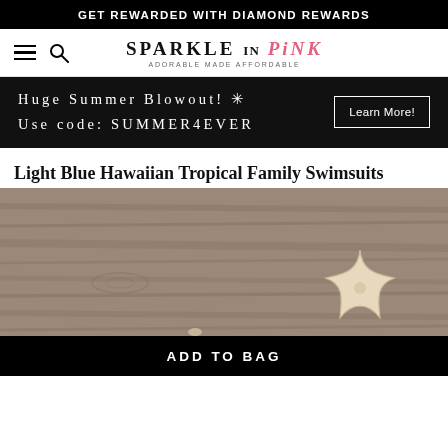GET REWARDED WITH DIAMOND REWARDS
[Figure (logo): Sparkle in Pink logo with hamburger menu and search icon]
Huge Summer Blowout! ✳ Use code: SUMMER4EVER
Learn More!
Light Blue Hawaiian Tropical Family Swimsuits
[Figure (photo): Wood grain surface with a starfish decoration in the bottom right corner]
ADD TO BAG